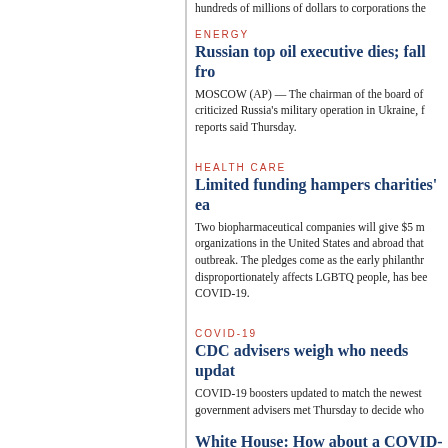hundreds of millions of dollars to corporations the
ENERGY
Russian top oil executive dies; fall fro
MOSCOW (AP) — The chairman of the board of criticized Russia's military operation in Ukraine, f reports said Thursday.
HEALTH CARE
Limited funding hampers charities' ea
Two biopharmaceutical companies will give $5 m organizations in the United States and abroad that outbreak. The pledges come as the early philanthr disproportionately affects LGBTQ people, has bee COVID-19.
COVID-19
CDC advisers weigh who needs updat
COVID-19 boosters updated to match the newest government advisers met Thursday to decide who
White House: How about a COVID-1
WASHINGTON (AP) — The Biden administratio routine as going in for the yearly flu shot.
NATIONAL/INTERNATIONAL BUSINESS